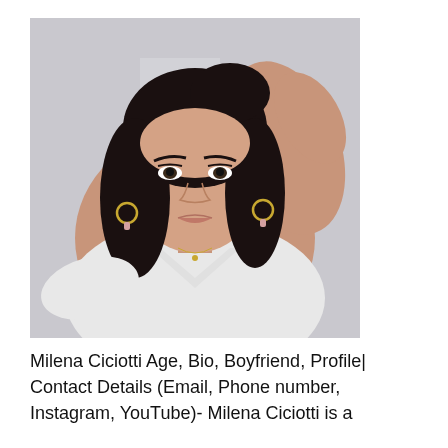[Figure (photo): A young woman with long dark hair taking a selfie. She is wearing a white v-neck top, hoop earrings, and a delicate necklace. Her right hand is raised behind her head. The background is light/neutral.]
Milena Ciciotti Age, Bio, Boyfriend, Profile| Contact Details (Email, Phone number, Instagram, YouTube)- Milena Ciciotti is a